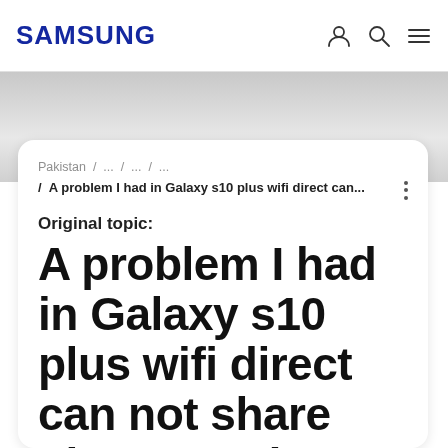SAMSUNG
Pakistan / ... / ... / ...
/ A problem I had in Galaxy s10 plus wifi direct can...
Original topic:
A problem I had in Galaxy s10 plus wifi direct can not share photos and videos